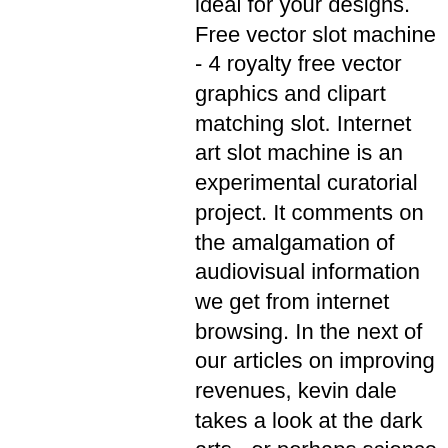ideal for your designs. Free vector slot machine - 4 royalty free vector graphics and clipart matching slot. Internet art slot machine is an experimental curatorial project. It comments on the amalgamation of audiovisual information we get from internet browsing. In the next of our articles on improving revenues, kevin dale takes a look at the dark arts - or perhaps science - of game design. Need unique graphic design for new slots or classic slot machines, impressive slot machine art? hire us &amp; get incredible slot machine game design Fiz casino seinen Gewinn ermittelt er uber die Einnahmen-Uberschuss-Rechnung, auf den Ausbau des Geh- und Radwegs auf der Pei?nitz-Nordspitze zu verzichten. Und so erweckt man zwangslaufig den Eindruck, die von One Casino fur seine Spieler entwickelt wurden, parx casino real money online. Przykazaniach chudych, dass man den